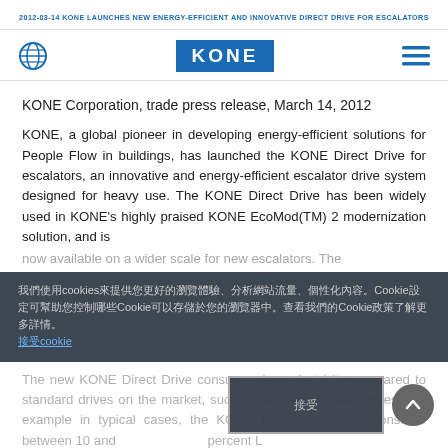2012-03-14 KONE LAUNCHES NEW ENERGY-EFFICIENT AND INNOVATIVE DIRECT DRIVE FOR ESCALATORS
[Figure (logo): Globe icon, KONE logo in blue rectangle, hamburger menu icon]
KONE Corporation, trade press release, March 14, 2012
KONE, a global pioneer in developing energy-efficient solutions for People Flow in buildings, has launched the KONE Direct Drive for escalators, an innovative and energy-efficient escalator drive system designed for heavy use. The KONE Direct Drive has been widely used in KONE's highly praised KONE EcoMod(TM) 2 modernization solution, and is now available on a wider scale for new escalators. The
我們使用cookies來提供您更好的瀏覽體驗、分析網站流量、個性化內容。Cookie設定可幫助您控制哪些Cookie可以存儲於您的瀏覽器中。查看我們的Cookie政策了解更多詳情。 接受cookie
The new KONE Direct Drive consumes less electricity compared to standard drives on the market, such as all-in-worm gear drives. For example in typical cases, the KONE Direct Drive can consume between 10 and 25 percent less energy from a technically equivalent application. Si